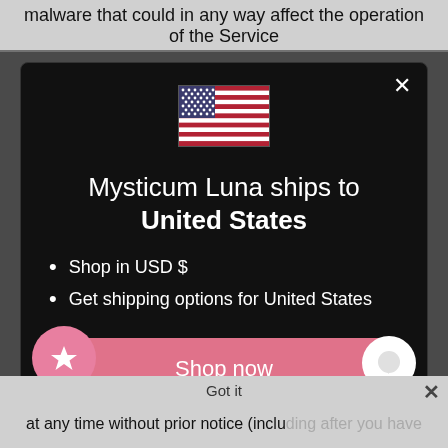malware that could in any way affect the operation of the Service
[Figure (screenshot): Modal dialog on dark background showing US flag emoji, text 'Mysticum Luna ships to United States', bullet points 'Shop in USD $' and 'Get shipping options for United States', a pink 'Shop now' button, and 'Change shipping country' link. A pink star button and white chat bubble button are at the bottom corners.]
at any time without prior notice (including after you have